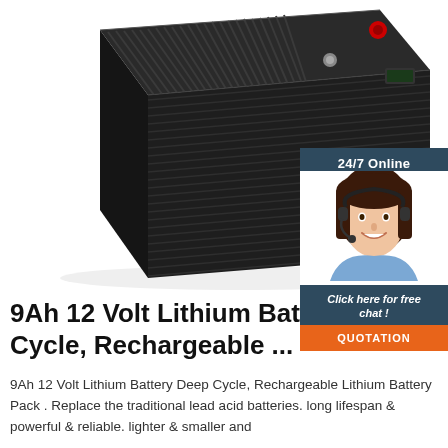[Figure (photo): Black rectangular lithium battery pack photographed at an angle showing the top and front face with terminal connectors and a small display panel. White background.]
[Figure (illustration): Customer service chat widget with dark navy background showing '24/7 Online' text at top, a smiling woman with headset in center, 'Click here for free chat!' text below, and an orange QUOTATION button at bottom.]
9Ah 12 Volt Lithium Battery Deep Cycle, Rechargeable ...
9Ah 12 Volt Lithium Battery Deep Cycle, Rechargeable Lithium Battery Pack . Replace the traditional lead acid batteries. long lifespan & powerful & reliable. lighter & smaller and